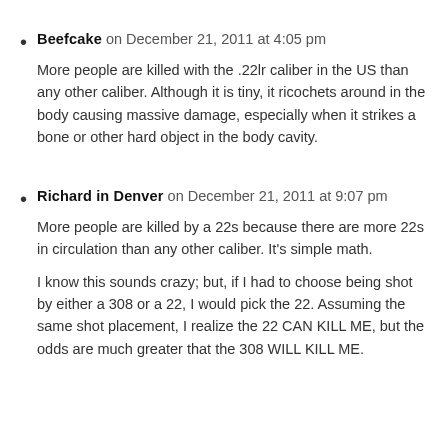Beefcake on December 21, 2011 at 4:05 pm
More people are killed with the .22lr caliber in the US than any other caliber. Although it is tiny, it ricochets around in the body causing massive damage, especially when it strikes a bone or other hard object in the body cavity.
Richard in Denver on December 21, 2011 at 9:07 pm
More people are killed by a 22s because there are more 22s in circulation than any other caliber. It's simple math.
I know this sounds crazy; but, if I had to choose being shot by either a 308 or a 22, I would pick the 22. Assuming the same shot placement, I realize the 22 CAN KILL ME, but the odds are much greater that the 308 WILL KILL ME.